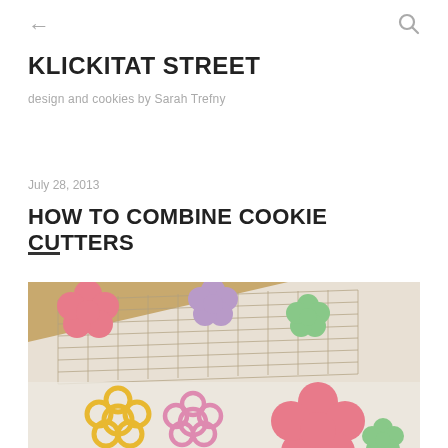← (back) Q (search)
KLICKITAT STREET
design and cookies by Sarah Trefny
July 28, 2013
HOW TO COMBINE COOKIE CUTTERS
[Figure (photo): Colorful flower-shaped sugar cookies (pink, lavender, green) on a wire cooling rack, with plastic flower-shaped cookie cutters (yellow, pink, purple) in the foreground on a white surface, with a wooden background visible.]